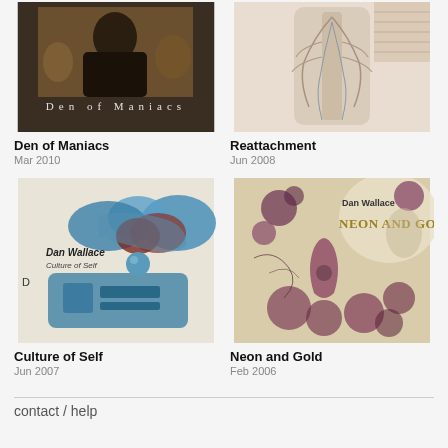[Figure (photo): Album cover for Den of Maniacs - person seated in ornate chair with text 'Den of Maniacs' overlaid]
Den of Maniacs
Mar 2010
[Figure (illustration): Album cover for Reattachment - anatomical illustration of torso/body systems in muted tones]
Reattachment
Jun 2008
[Figure (illustration): Album cover for Culture of Self - stylized blue anatomical/biological illustration with 'Dan Wallace Culture of Self' text]
Culture of Self
Jun 2007
[Figure (illustration): Album cover for Neon and Gold - illustrated floral/organic patterns with 'Dan Wallace NEON AND GOLD' text]
Neon and Gold
Feb 2006
contact / help